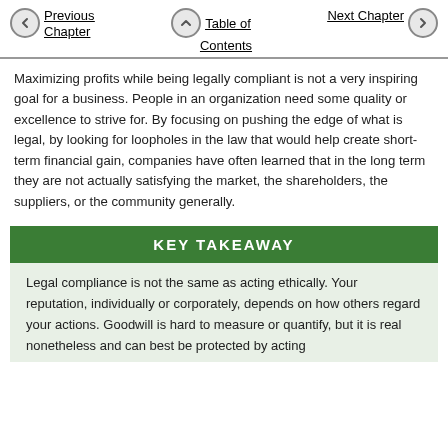Previous Chapter | Table of Contents | Next Chapter
Maximizing profits while being legally compliant is not a very inspiring goal for a business. People in an organization need some quality or excellence to strive for. By focusing on pushing the edge of what is legal, by looking for loopholes in the law that would help create short-term financial gain, companies have often learned that in the long term they are not actually satisfying the market, the shareholders, the suppliers, or the community generally.
KEY TAKEAWAY
Legal compliance is not the same as acting ethically. Your reputation, individually or corporately, depends on how others regard your actions. Goodwill is hard to measure or quantify, but it is real nonetheless and can best be protected by acting